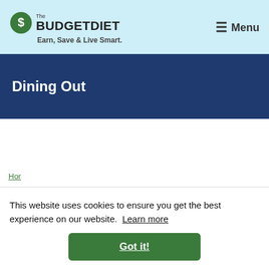The BUDGETDIET — Earn, Save & Live Smart. Menu
Dining Out
This website uses cookies to ensure you get the best experience on our website. Learn more
Got it!